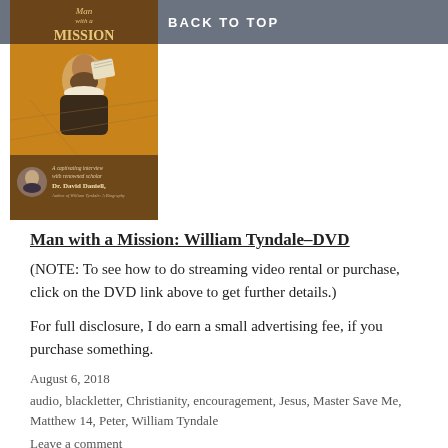BACK TO TOP
[Figure (photo): Book cover for 'Man with a Mission: William Tyndale' DVD, featuring an illustration of William Tyndale and a portrait photo of Dr. David Daniell, described as 'A captivating interview with renowned scholar Dr. David Daniell, Author of William Tyndale: A Biography']
Man with a Mission: William Tyndale–DVD
(NOTE: To see how to do streaming video rental or purchase, click on the DVD link above to get further details.)
For full disclosure, I do earn a small advertising fee, if you purchase something.
August 6, 2018
audio, blackletter, Christianity, encouragement, Jesus, Master Save Me, Matthew 14, Peter, William Tyndale
Leave a comment